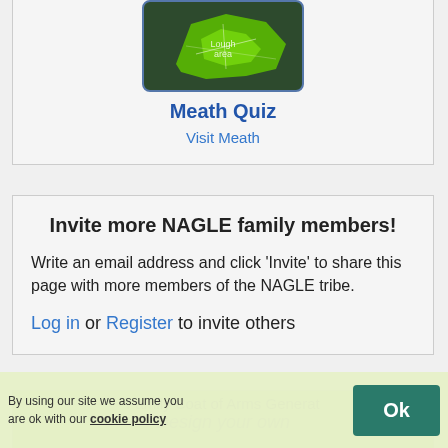[Figure (illustration): Map image of Meath county shown in green on dark background, inside a rounded blue-bordered box]
Meath Quiz
Visit Meath
Invite more NAGLE family members!
Write an email address and click 'Invite' to share this page with more members of the NAGLE tribe.
Log in or Register to invite others
Family Coat of Arms Generator
Design your own
Family crest
By using our site we assume you are ok with our cookie policy
Ok